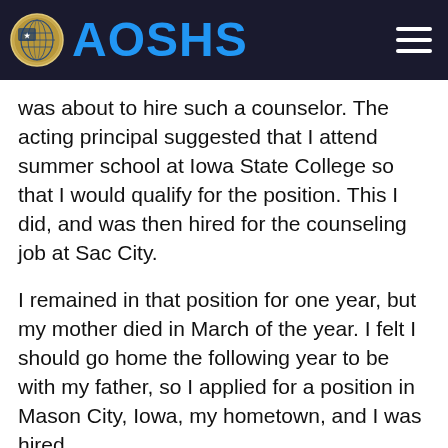AOSHS
was about to hire such a counselor. The acting principal suggested that I attend summer school at Iowa State College so that I would qualify for the position. This I did, and was then hired for the counseling job at Sac City.
I remained in that position for one year, but my mother died in March of the year. I felt I should go home the following year to be with my father, so I applied for a position in Mason City, Iowa, my hometown, and I was hired.
I taught English at Monroe Junior High School the year after my mother died, but I was not at all happy being